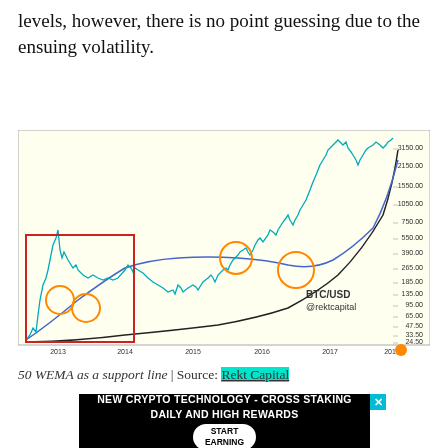The chart could breakout or breakdown. But at these levels, however, there is no point guessing due to the ensuing volatility.
[Figure (continuous-plot): BTC/USD logarithmic price chart from 2013 to 2018 showing candlesticks, a blue curve (50 WEMA support line), a black curve (another moving average), orange circles highlighting support touches at the moving average in 2013, 2016, and 2017, and a red rectangle highlighting the 2013-2014 region. Y-axis ranges from 24.50 to 3150.00 on a log scale. Chart attributed to @rektcapital.]
50 WEMA as a support line | Source: Rekt Capital
[Figure (other): Advertisement banner: NEW CRYPTO TECHNOLOGY - CROSS STAKING DAILY AND HIGH REWARDS with START EARNING button]